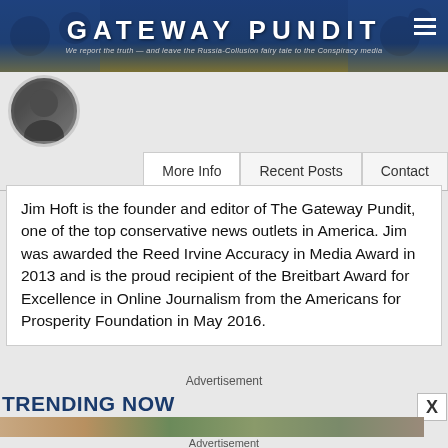GATEWAY PUNDIT — We report the truth — and leave the Russia-Collusion fairy tale to the Conspiracy media
Jim Hoft is the founder and editor of The Gateway Pundit, one of the top conservative news outlets in America. Jim was awarded the Reed Irvine Accuracy in Media Award in 2013 and is the proud recipient of the Breitbart Award for Excellence in Online Journalism from the Americans for Prosperity Foundation in May 2016.
Advertisement
TRENDING NOW
Advertisement
COVID-19 Patients Experience Hair Loss After Infection
Herbeauty